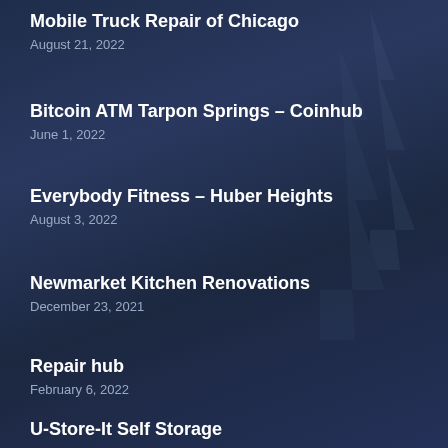Mobile Truck Repair of Chicago
August 21, 2022
Bitcoin ATM Tarpon Springs – Coinhub
June 1, 2022
Everybody Fitness – Huber Heights
August 3, 2022
Newmarket Kitchen Renovations
December 23, 2021
Repair hub
February 6, 2022
U-Store-It Self Storage